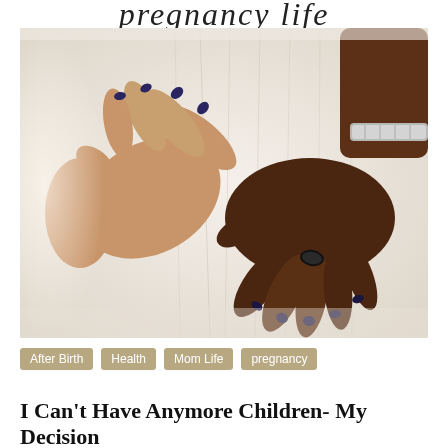pregnancy life
[Figure (photo): Two pairs of hands forming a heart shape over a pregnant belly. One pair of hands is lighter-skinned with dark nail polish, the other is darker-skinned wearing a silver bracelet and a dark ring. The belly is clothed in white fabric.]
After Birth
Health
Mom Life
pregnancy
I Can't Have Anymore Children- My Decision